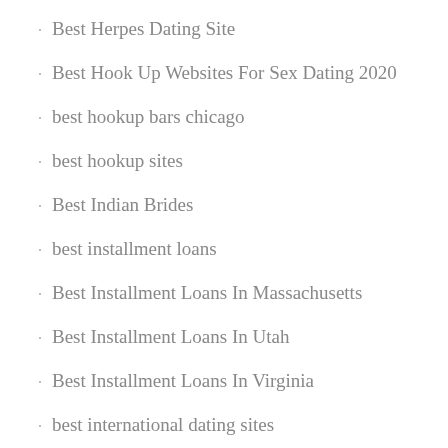Best Herpes Dating Site
Best Hook Up Websites For Sex Dating 2020
best hookup bars chicago
best hookup sites
Best Indian Brides
best installment loans
Best Installment Loans In Massachusetts
Best Installment Loans In Utah
Best Installment Loans In Virginia
best international dating sites
Best Internet Dating Site
best internet dating website